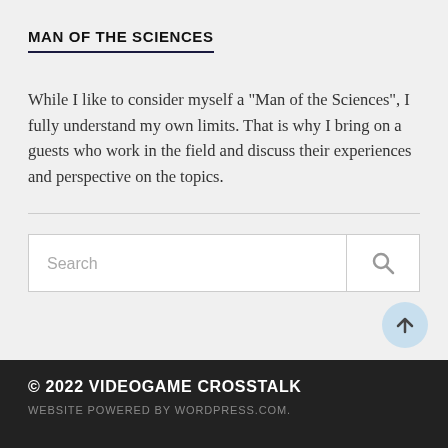MAN OF THE SCIENCES
While I like to consider myself a "Man of the Sciences", I fully understand my own limits. That is why I bring on a guests who work in the field and discuss their experiences and perspective on the topics.
[Figure (other): Search input box with magnifying glass icon]
[Figure (other): Scroll-to-top circular button with upward arrow]
© 2022 VIDEOGAME CROSSTALK
WEBSITE POWERED BY WORDPRESS.COM.